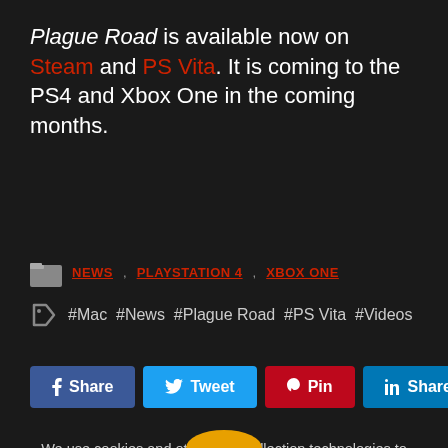Plague Road is available now on Steam and PS Vita. It is coming to the PS4 and Xbox One in the coming months.
NEWS  PLAYSTATION 4  XBOX ONE
#Mac #News #Plague Road #PS Vita #Videos
Share  Tweet  Pin  Share
We use cookies and other data collection technologies to provide the best experience for our customers. You may request that your data not be shared with third parties here: Do Not Share My Data.